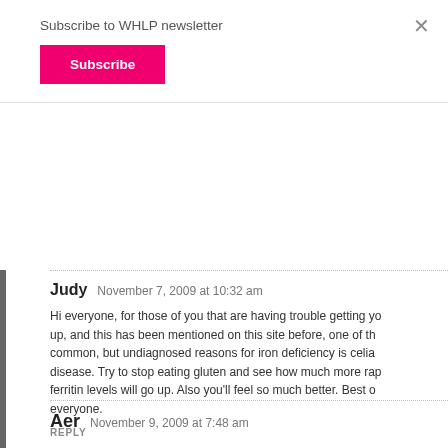Subscribe to WHLP newsletter
Subscribe
×
Judy  November 7, 2009 at 10:32 am
Hi everyone, for those of you that are having trouble getting your ferritin up, and this has been mentioned on this site before, one of the most common, but undiagnosed reasons for iron deficiency is celiac disease. Try to stop eating gluten and see how much more rapidly your ferritin levels will go up. Also you'll feel so much better. Best of luck to everyone.
REPLY
Aer  November 9, 2009 at 7:48 am